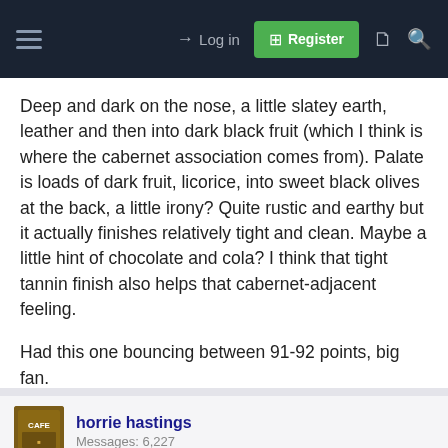Log in | Register
Deep and dark on the nose, a little slatey earth, leather and then into dark black fruit (which I think is where the cabernet association comes from). Palate is loads of dark fruit, licorice, into sweet black olives at the back, a little irony? Quite rustic and earthy but it actually finishes relatively tight and clean. Maybe a little hint of chocolate and cola? I think that tight tannin finish also helps that cabernet-adjacent feeling.

Had this one bouncing between 91-92 points, big fan.
Drew-Sta
horrie hastings
Messages: 6,227